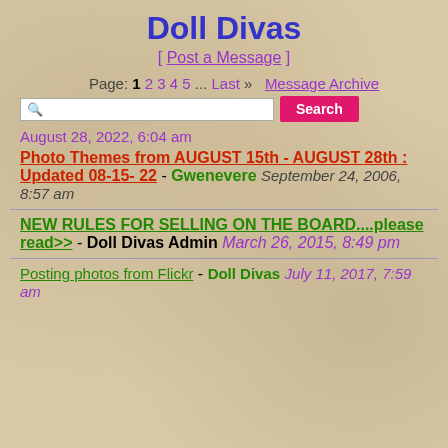Doll Divas
[ Post a Message ]
Page: 1 2 3 4 5 ... Last » Message Archive
August 28, 2022, 6:04 am
Photo Themes from AUGUST 15th - AUGUST 28th : Updated 08-15- 22 - Gwenevere September 24, 2006, 8:57 am
NEW RULES FOR SELLING ON THE BOARD....please read>> - Doll Divas Admin March 26, 2015, 8:49 pm
Posting photos from Flickr - Doll Divas July 11, 2017, 7:59 am